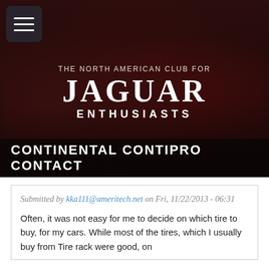[Figure (photo): Hero banner showing blurred dark red/maroon classic Jaguar cars in a showroom or parking area, used as background for the club website header]
THE NORTH AMERICAN CLUB FOR JAGUAR ENTHUSIASTS
CONTINENTAL CONTIPRO CONTACT
Submitted by kka111@ameritech.net on Fri, 11/22/2013 - 06:31
Often, it was not easy for me to decide on which tire to buy, for my cars. While most of the tires, which I usually buy from Tire rack were good, on